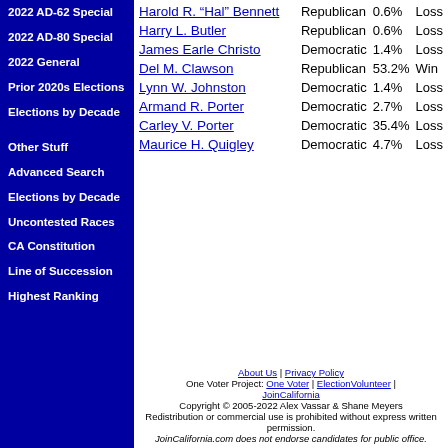2022 AD-62 Special
2022 AD-80 Special
2022 General
Prior 2020s Elections
Elections by Decade
Other Stuff
Advanced Search
Elections by Decade
Uncontested Races
CA Constitution
Line of Succession
Highest Ranking
| Candidate | Party | Pct | Result |
| --- | --- | --- | --- |
| Harold R. "Hal" Bennett | Republican | 0.6% | Loss |
| Harry L. Butler | Republican | 0.6% | Loss |
| James Earle Christo | Democratic | 1.4% | Loss |
| Del M. Clawson | Republican | 53.2% | Win |
| Lynn W. Johnston | Democratic | 1.4% | Loss |
| Armand R. Porter | Democratic | 2.7% | Loss |
| Carley V. Porter | Democratic | 35.4% | Loss |
| Maurice H. Quigley | Democratic | 4.7% | Loss |
About Us | Privacy Policy | One Voter Project: One Voter | ElectionVolunteer | JoinCalifornia | Copyright © 2005-2022 Alex Vassar & Shane Meyers. Redistribution or commercial use is prohibited without express written permission. JoinCalifornia.com does not endorse candidates for public office.